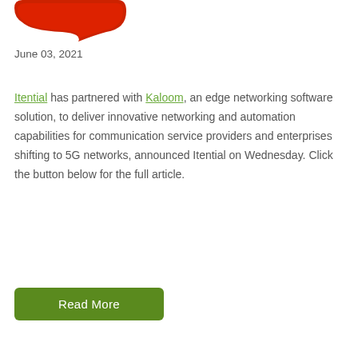[Figure (logo): Red speech bubble / chat bubble logo icon, partially cropped at top]
June 03, 2021
Itential has partnered with Kaloom, an edge networking software solution, to deliver innovative networking and automation capabilities for communication service providers and enterprises shifting to 5G networks, announced Itential on Wednesday. Click the button below for the full article.
Read More